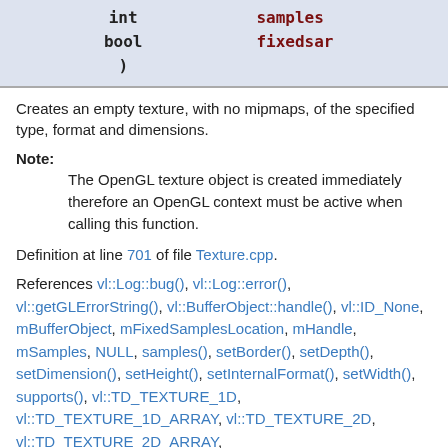| int | samples |
| bool | fixedsar |
| ) |  |
Creates an empty texture, with no mipmaps, of the specified type, format and dimensions.
Note: The OpenGL texture object is created immediately therefore an OpenGL context must be active when calling this function.
Definition at line 701 of file Texture.cpp.
References vl::Log::bug(), vl::Log::error(), vl::getGLErrorString(), vl::BufferObject::handle(), vl::ID_None, mBufferObject, mFixedSamplesLocation, mHandle, mSamples, NULL, samples(), setBorder(), setDepth(), setDimension(), setHeight(), setInternalFormat(), setWidth(), supports(), vl::TD_TEXTURE_1D, vl::TD_TEXTURE_1D_ARRAY, vl::TD_TEXTURE_2D, vl::TD_TEXTURE_2D_ARRAY, vl::TD_TEXTURE_2D_MULTISAMPLE, vl::TD_TEXTURE_2D_MULTISAMPLE_ARRAY,